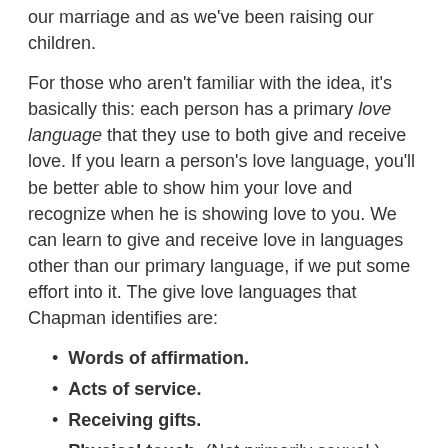our marriage and as we've been raising our children.
For those who aren't familiar with the idea, it's basically this: each person has a primary love language that they use to both give and receive love. If you learn a person's love language, you'll be better able to show him your love and recognize when he is showing love to you. We can learn to give and receive love in languages other than our primary language, if we put some effort into it. The give love languages that Chapman identifies are:
Words of affirmation.
Acts of service.
Receiving gifts.
Physical touch. (Not primarily sexual.)
Quality time.
(Side note: your love language is also probably the